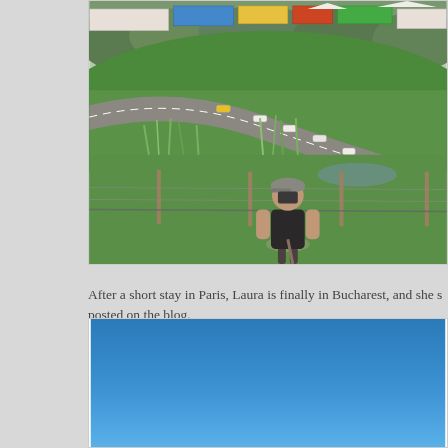[Figure (photo): Aerial/elevated view of a motorsport race track with multiple white racing cars navigating a curve. Green grass infield and trees in background. In the foreground, a man wearing a black sleeveless shirt and cap stands at a fence watching/photographing the race. Various sponsor tents and structures visible in background.]
After a short stay in Paris, Laura is finally in Bucharest, and she s posted on the blog.
[Figure (photo): Clear blue sky photograph, gradient from lighter blue at bottom to slightly darker blue at top.]